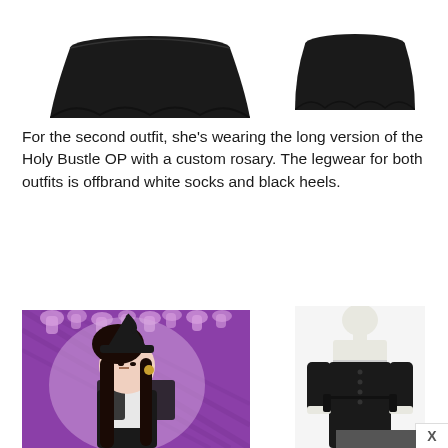[Figure (photo): Top portion of a black flared skirt/dress on a mannequin stand, cropped at top]
[Figure (photo): Top portion of a black dress on a stand, partially visible, cropped at top right]
For the second outfit, she's wearing the long version of the Holy Bustle OP with a custom rosary. The legwear for both outfits is offbrand white socks and black heels.
[Figure (photo): Young woman in Lolita fashion wearing a black and white dress with lace gloves and witch hat, standing against a purple Halloween-themed background]
[Figure (photo): Black long-sleeve dress (Holy Bustle OP long version) on a white mannequin, showing square neckline with white lace trim and buttons down the front]